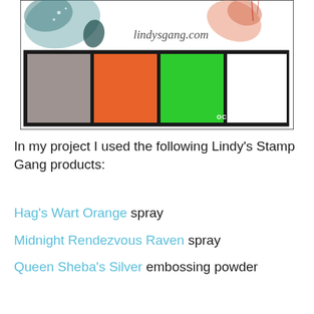[Figure (other): Color palette card from lindysgang.com showing October 2017 palette with five color swatches: gray, orange, bright green, white, and black, with watercolor splashes at the top.]
In my project I used the following Lindy's Stamp Gang products:
Hag's Wart Orange spray
Midnight Rendezvous Raven spray
Queen Sheba's Silver embossing powder